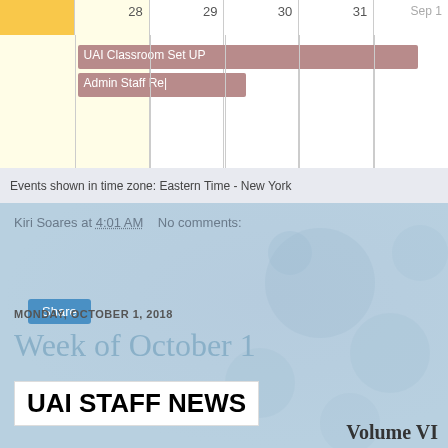[Figure (screenshot): Google Calendar view showing week of Aug 28 - Sep 1 with events: UAI Classroom Set UP and Admin Staff Re[treat] spanning Aug 29-31]
Events shown in time zone: Eastern Time - New York
Kiri Soares at 4:01 AM    No comments:
Share
MONDAY, OCTOBER 1, 2018
Week of October 1
UAI STAFF NEWS
Volume VI